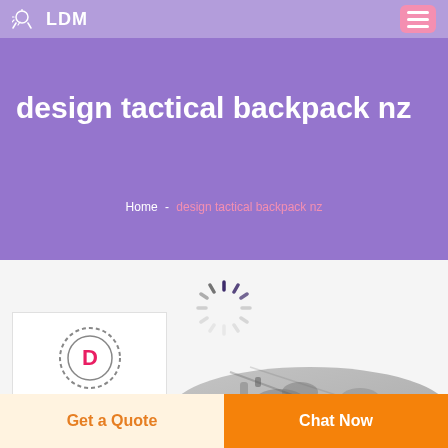LDM
design tactical backpack nz
Home - design tactical backpack nz
[Figure (illustration): Loading spinner animation (radial lines in dark purple/grey on light background)]
[Figure (logo): DEEKON logo with circular emblem containing letter D]
[Figure (photo): Partial view of a camouflage tactical backpack in grey/green tones]
Get a Quote
Chat Now